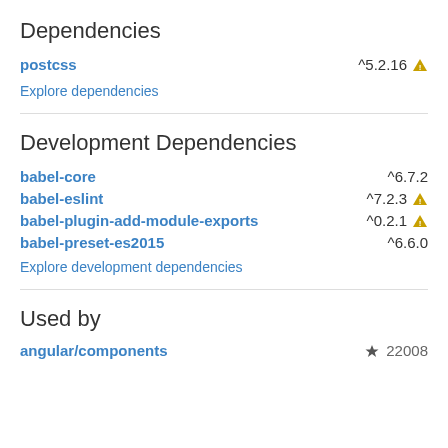Dependencies
postcss ^5.2.16 ⚠
Explore dependencies
Development Dependencies
babel-core ^6.7.2
babel-eslint ^7.2.3 ⚠
babel-plugin-add-module-exports ^0.2.1 ⚠
babel-preset-es2015 ^6.6.0
Explore development dependencies
Used by
angular/components ★ 22008